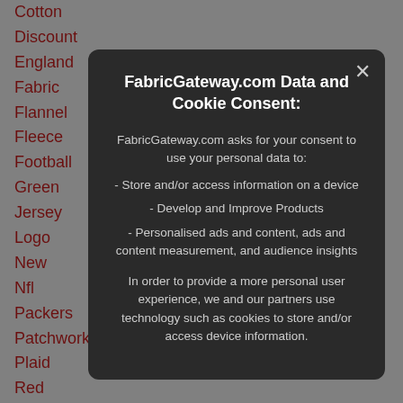Cotton
Discount
England
Fabric
Flannel
Fleece
Football
Green
Jersey
Logo
New
Nfl
Packers
Patchwork
Plaid
Red
Redskins
Saints
San
Seahawks
Sports
Steelers
Super
FabricGateway.com Data and Cookie Consent:
FabricGateway.com asks for your consent to use your personal data to:
- Store and/or access information on a device
- Develop and Improve Products
- Personalised ads and content, ads and content measurement, and audience insights
In order to provide a more personal user experience, we and our partners use technology such as cookies to store and/or access device information.